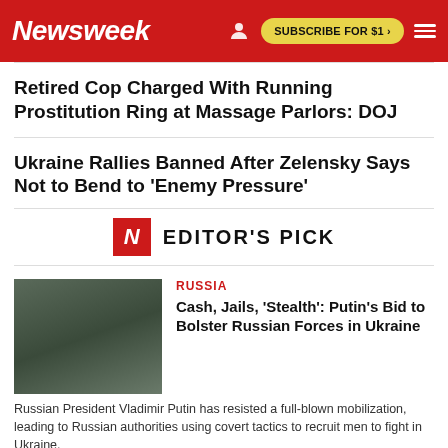Newsweek | SUBSCRIBE FOR $1 >
Retired Cop Charged With Running Prostitution Ring at Massage Parlors: DOJ
Ukraine Rallies Banned After Zelensky Says Not to Bend to 'Enemy Pressure'
EDITOR'S PICK
RUSSIA
Cash, Jails, 'Stealth': Putin's Bid to Bolster Russian Forces in Ukraine
Russian President Vladimir Putin has resisted a full-blown mobilization, leading to Russian authorities using covert tactics to recruit men to fight in Ukraine.
RUSSIA
Russia Blames Daria Dugina's Killing on Female Ukrainian Citiz